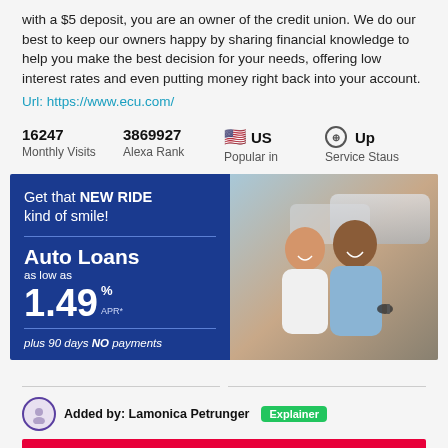with a $5 deposit, you are an owner of the credit union. We do our best to keep our owners happy by sharing financial knowledge to help you make the best decision for your needs, offering low interest rates and even putting money right back into your account.
Url: https://www.ecu.com/
| 16247 | 3869927 | 🇺🇸 US | ⊕ Up |
| Monthly Visits | Alexa Rank | Popular in | Service Staus |
[Figure (photo): Auto Loans advertisement banner for a credit union. Blue background on left with text: 'Get that NEW RIDE kind of smile! Auto Loans as low as 1.49% APR* plus 90 days NO payments' and a Learn more button. Right side shows a smiling couple at a car dealership.]
Added by: Lamonica Petrunger  Explainer
Educators Credit Union - Home